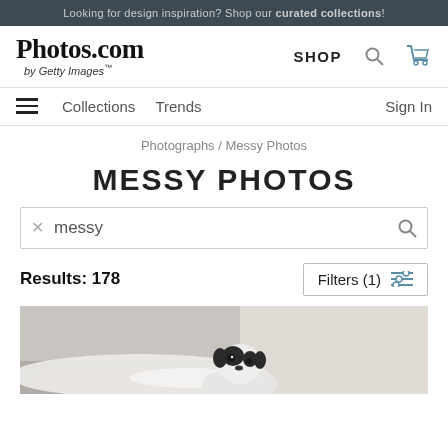Looking for design inspiration? Shop our curated collections!
[Figure (logo): Photos.com by Getty Images logo with SHOP navigation, search icon, and cart icon]
Collections   Trends   Sign In
Photographs / Messy Photos
MESSY PHOTOS
messy (search box)
Results: 178   Filters (1)
[Figure (photo): Black and white dog lying on a messy bed or floor, looking at camera]